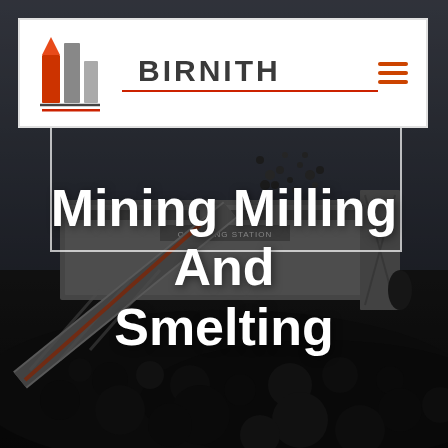[Figure (photo): Industrial mining crushing station with heavy machinery, conveyor belts, and piles of coal/ore in a dark outdoor setting]
BIRNITH
Mining Milling And Smelting